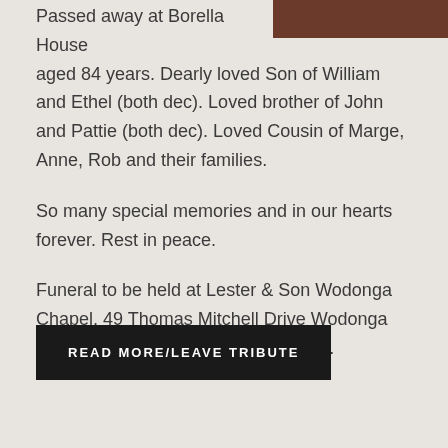[Figure (photo): Partial view of a portrait photo, top-right corner, showing a dark reddish-brown image]
Passed away at Borella House aged 84 years. Dearly loved Son of William and Ethel (both dec). Loved brother of John and Pattie (both dec). Loved Cousin of Marge, Anne, Rob and their families.

So many special memories and in our hearts forever. Rest in peace.

Funeral to be held at Lester & Son Wodonga Chapel, 49 Thomas Mitchell Drive Wodonga on Tuesday 2nd August 2022 at 2pm.
READ MORE/LEAVE TRIBUTE